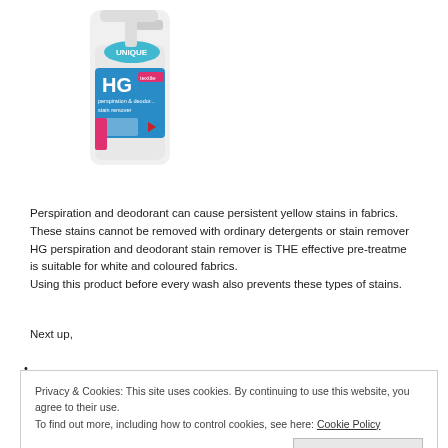[Figure (photo): HG perspiration and deodorant stain remover spray bottle with blue label and 'UNIQUE' branding, white background]
Perspiration and deodorant can cause persistent yellow stains in fabrics. These stains cannot be removed with ordinary detergents or stain removers. HG perspiration and deodorant stain remover is THE effective pre-treatment is suitable for white and coloured fabrics. Using this product before every wash also prevents these types of stains.
Next up,
Privacy & Cookies: This site uses cookies. By continuing to use this website, you agree to their use. To find out more, including how to control cookies, see here: Cookie Policy
Close and accept